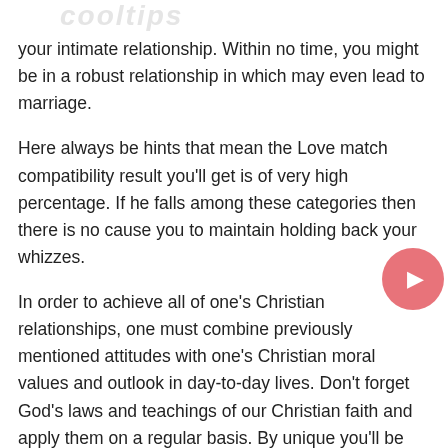your intimate relationship. Within no time, you might be in a robust relationship in which may even lead to marriage.
Here always be hints that mean the Love match compatibility result you'll get is of very high percentage. If he falls among these categories then there is no cause you to maintain holding back your whizzes.
In order to achieve all of one's Christian relationships, one must combine previously mentioned attitudes with one's Christian moral values and outlook in day-to-day lives. Don't forget God's laws and teachings of our Christian faith and apply them on a regular basis. By unique you'll be freer, confident, more relax, happier and ready in meeting other Christian singles.
The above online dating tips will invariably ensure